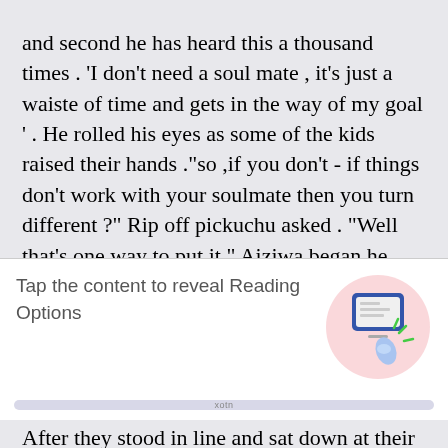and second he has heard this a thousand times . 'I don't need a soul mate , it's just a waiste of time and gets in the way of my goal ' . He rolled his eyes as some of the kids raised their hands ."so ,if you don't - if things don't work with your soulmate then you turn different ?" Rip off pickuchu asked . "Well that's one way to put it " Aiziwa began he pointed to the board again "you become depressed , stressed ,sad ect. " He said . Bakugo stared out the window and scoffed . why do they even have this class ?" Aiziv
[Figure (illustration): UI overlay panel with text 'Tap the content to reveal Reading Options' and an icon showing a hand tapping a mobile phone screen with sparkle/action lines, on a pink circular background]
Tap the content to reveal Reading Options
After they stood in line and sat down at their usual